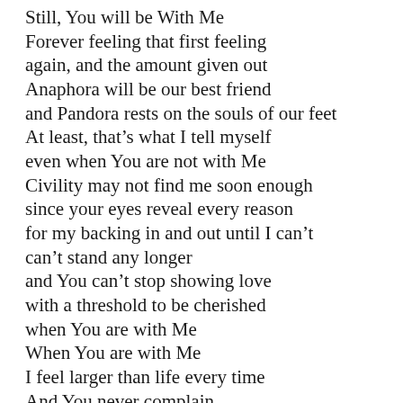Still, You will be With Me
Forever feeling that first feeling
again, and the amount given out
Anaphora will be our best friend
and Pandora rests on the souls of our feet
At least, that’s what I tell myself
even when You are not with Me
Civility may not find me soon enough
since your eyes reveal every reason
for my backing in and out until I can’t
can’t stand any longer
and You can’t stop showing love
with a threshold to be cherished
when You are with Me
When You are with Me
I feel larger than life every time
And You never complain
so You keep showing love